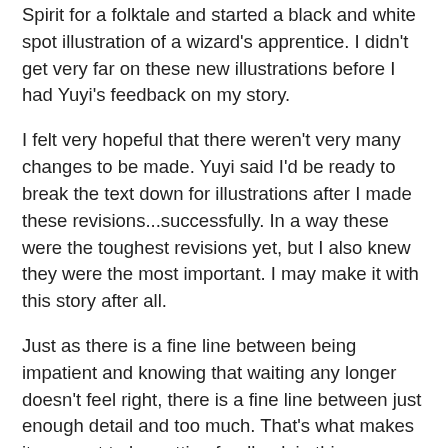Spirit for a folktale and started a black and white spot illustration of a wizard's apprentice. I didn't get very far on these new illustrations before I had Yuyi's feedback on my story.
I felt very hopeful that there weren't very many changes to be made. Yuyi said I'd be ready to break the text down for illustrations after I made these revisions...successfully. In a way these were the toughest revisions yet, but I also knew they were the most important. I may make it with this story after all.
Just as there is a fine line between being impatient and knowing that waiting any longer doesn't feel right, there is a fine line between just enough detail and too much. That's what makes it so great to be getting feedback in this program. Often in editing, it takes only a slight change in perception to make things just right. It's easy to overshoot the mark.
Overall, I needed to be more specific in a few areas. In one part, my main character needed some guidance from her